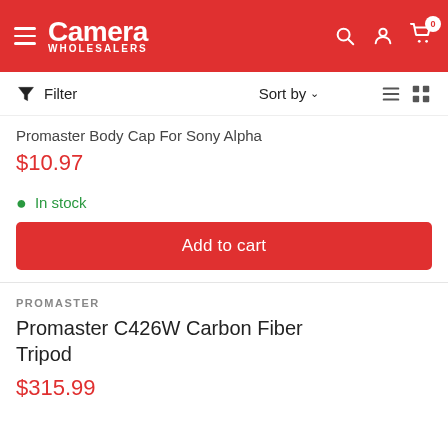[Figure (screenshot): Camera Wholesalers website header with red background, hamburger menu, logo, search, account, and cart icons]
Filter   Sort by   ▾
Promaster Body Cap For Sony Alpha
$10.97
In stock
Add to cart
PROMASTER
Promaster C426W Carbon Fiber Tripod
$315.99